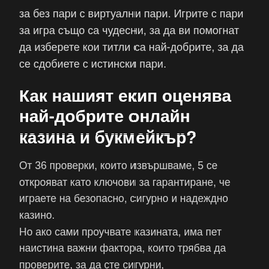за без пари с виртуални пари. Игрите с пари за игра също са чудесни, за да ви помогнат да изберете кои титли са най-добрите, за да се сдобиете с истински пари.
Как нашият екип оценява най-добрите онлайн казина и букмейкър?
От 36 проверки, които извършваме, 5 се открояват като ключови за гарантиране, че играете на безопасно, сигурно и надеждно казино.
Но ако сами проучвате казината, има пет наистина важни фактора, които трябва да проверите, за да сте сигурни,